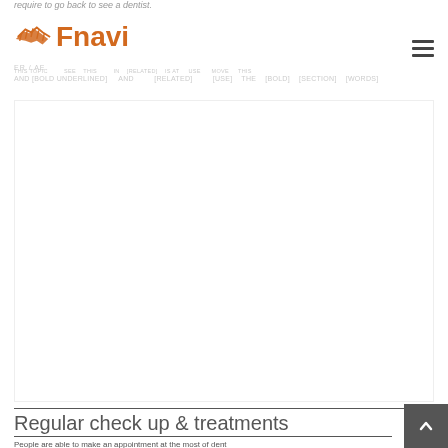require to go back to see a dentist.
Fnavi — ER / AE [navigation links]
[Figure (screenshot): Advertisement or empty content area]
Regular check up & treatments
People are able to make an appointment at the most of dent...